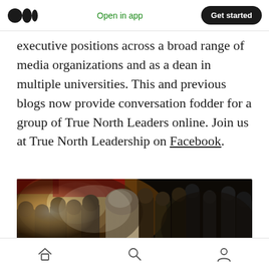Open in app | Get started
executive positions across a broad range of media organizations and as a dean in multiple universities. This and previous blogs now provide conversation fodder for a group of True North Leaders online. Join us at True North Leadership on Facebook.
[Figure (photo): A crowd of people gathered at an outdoor event at night, with a man visible from behind in the center foreground, warm lighting in the background.]
Home | Search | Profile